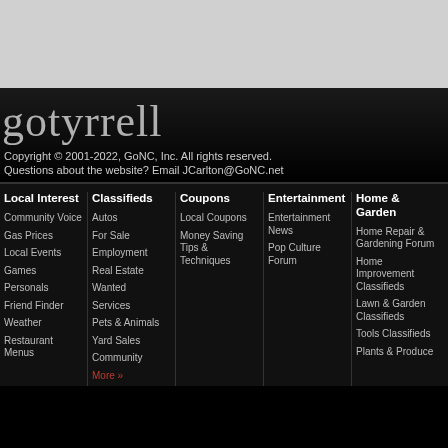[Figure (other): Gray top area background]
gotyrrell
Copyright © 2001-2022, GoNC, Inc. All rights reserved.
Questions about the website? Email JCarlton@GoNC.net
Local Interest
Community Voice
Gas Prices
Local Events
Games
Personals
Friend Finder
Weather
Restaurant Menus
Classifieds
Autos
For Sale
Employment
Real Estate
Wanted
Services
Pets & Animals
Yard Sales
Community
More »
Coupons
Local Coupons
Money Saving Tips & Techniques
Entertainment
Entertainment News
Pop Culture Forum
Home & Garden
Home Repair & Gardening Forum
Home Improvement Classifieds
Lawn & Garden Classifieds
Tools Classifieds
Plants & Produce